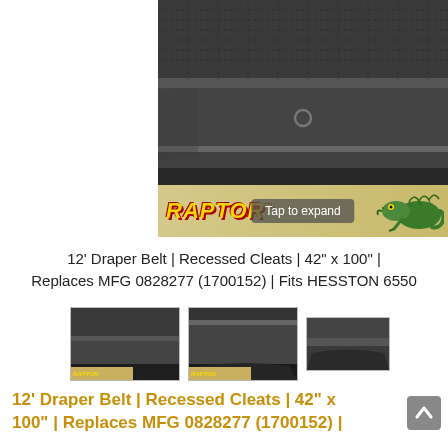[Figure (photo): Close-up photo of a dark black rubber draper belt with textured surface, shown rolled/folded, with the Raptor brand banner and lizard logo at the bottom. A 'Tap to expand' overlay is visible.]
12' Draper Belt | Recessed Cleats | 42" x 100" | Replaces MFG 0828277 (1700152) | Fits HESSTON 6550
[Figure (photo): Three thumbnail images of the draper belt product showing different angles. First two thumbnails show rolled belts with Raptor branding tag; third thumbnail shows a close-up of belt edge.]
12' Draper Belt | Recessed Cleats | 42" x 100" | Replaces MFG 0828277 (1700152) |